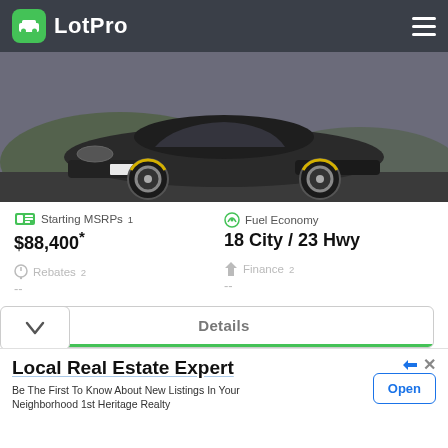[Figure (logo): LotPro app logo — green rounded square icon with white car silhouette, white text 'LotPro']
[Figure (photo): Dark grey Porsche Panamera sports car photographed from the front-left angle on a road with green hills in background]
Starting MSRPs¹
$88,400*
Fuel Economy
18 City / 23 Hwy
Rebates²
--
Finance²
--
Details
Local Real Estate Expert
Be The First To Know About New Listings In Your Neighborhood 1st Heritage Realty